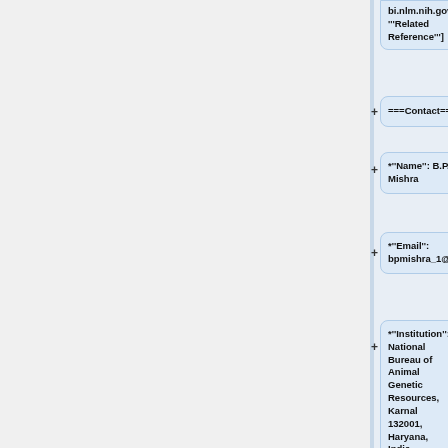bi.nlm.nih.gov/pubmed/15289330 '''Related Reference''']
===Contact===
*'''Name''': B.P. Mishra
*'''Email''': bpmishra_1@hotmail.com
*'''Institution''': National Bureau of Animal Genetic Resources, Karnal 132001, Haryana, India
===Citation Statistics===